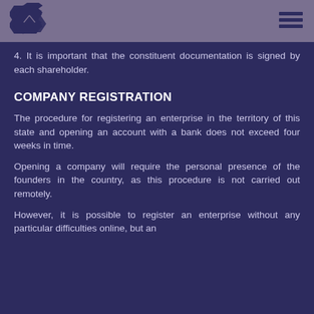[Figure (logo): Diamond/rhombus shaped logo with interlocking geometric pattern in dark navy blue on muted purple header background]
[Figure (other): Hamburger menu icon (three horizontal lines) in dark navy on muted purple header background]
4. It is important that the constituent documentation is signed by each shareholder.
COMPANY REGISTRATION
The procedure for registering an enterprise in the territory of this state and opening an account with a bank does not exceed four weeks in time.
Opening a company will require the personal presence of the founders in the country, as this procedure is not carried out remotely.
However, it is possible to register an enterprise without any particular difficulties online, but an